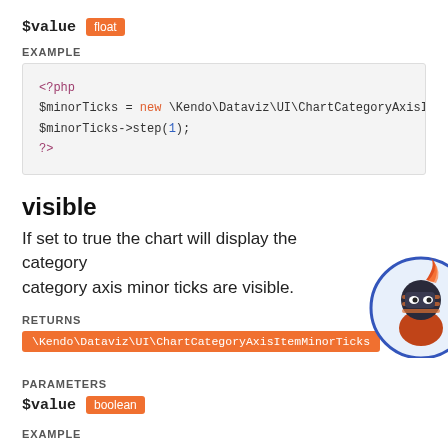$value float
EXAMPLE
<?php
$minorTicks = new \Kendo\Dataviz\UI\ChartCategoryAxisItem
$minorTicks->step(1);
?>
visible
If set to true the chart will display the category category axis minor ticks are visible.
RETURNS
\Kendo\Dataviz\UI\ChartCategoryAxisItemMinorTicks
PARAMETERS
$value boolean
EXAMPLE